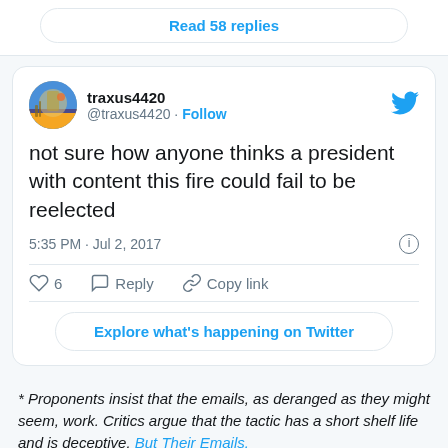Read 58 replies
[Figure (screenshot): Tweet by traxus4420 (@traxus4420) with text: 'not sure how anyone thinks a president with content this fire could fail to be reelected', posted at 5:35 PM · Jul 2, 2017. Shows 6 likes, Reply, Copy link actions and Explore what's happening on Twitter button.]
* Proponents insist that the emails, as deranged as they might seem, work. Critics argue that the tactic has a short shelf life and is deceptive. But Their Emails.